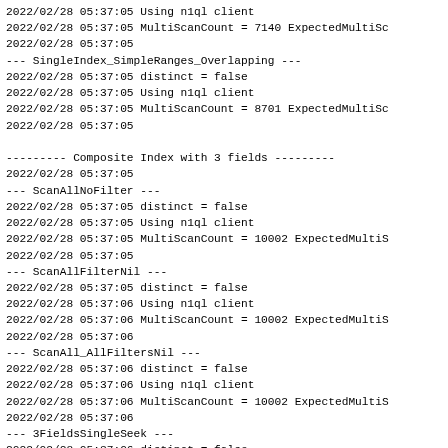2022/02/28 05:37:05 Using n1ql client
2022/02/28 05:37:05 MultiScanCount = 7140 ExpectedMultiSc
2022/02/28 05:37:05
--- SingleIndex_SimpleRanges_Overlapping ---
2022/02/28 05:37:05 distinct = false
2022/02/28 05:37:05 Using n1ql client
2022/02/28 05:37:05 MultiScanCount = 8701 ExpectedMultiSc
2022/02/28 05:37:05

--------- Composite Index with 3 fields ---------
2022/02/28 05:37:05
--- ScanAllNoFilter ---
2022/02/28 05:37:05 distinct = false
2022/02/28 05:37:05 Using n1ql client
2022/02/28 05:37:05 MultiScanCount = 10002 ExpectedMultiS
2022/02/28 05:37:05
--- ScanAllFilterNil ---
2022/02/28 05:37:05 distinct = false
2022/02/28 05:37:06 Using n1ql client
2022/02/28 05:37:06 MultiScanCount = 10002 ExpectedMultiS
2022/02/28 05:37:06
--- ScanAll_AllFiltersNil ---
2022/02/28 05:37:06 distinct = false
2022/02/28 05:37:06 Using n1ql client
2022/02/28 05:37:06 MultiScanCount = 10002 ExpectedMultiS
2022/02/28 05:37:06
--- 3FieldsSingleSeek ---
2022/02/28 05:37:06 distinct = false
2022/02/28 05:37:07 Using n1ql client
2022/02/28 05:37:07 MultiScanCount = 1 ExpectedMultiScanC